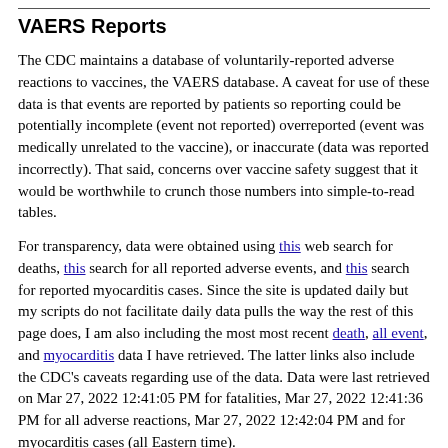VAERS Reports
The CDC maintains a database of voluntarily-reported adverse reactions to vaccines, the VAERS database. A caveat for use of these data is that events are reported by patients so reporting could be potentially incomplete (event not reported) overreported (event was medically unrelated to the vaccine), or inaccurate (data was reported incorrectly). That said, concerns over vaccine safety suggest that it would be worthwhile to crunch those numbers into simple-to-read tables.
For transparency, data were obtained using this web search for deaths, this search for all reported adverse events, and this search for reported myocarditis cases. Since the site is updated daily but my scripts do not facilitate daily data pulls the way the rest of this page does, I am also including the most most recent death, all event, and myocarditis data I have retrieved. The latter links also include the CDC's caveats regarding use of the data. Data were last retrieved on Mar 27, 2022 12:41:05 PM for fatalities, Mar 27, 2022 12:41:36 PM for all adverse reactions, Mar 27, 2022 12:42:04 PM and for myocarditis cases (all Eastern time).
VAERS data includes breakdown of vaccine manufacturer, gender, age, and days since the vaccine was given. Below links show total